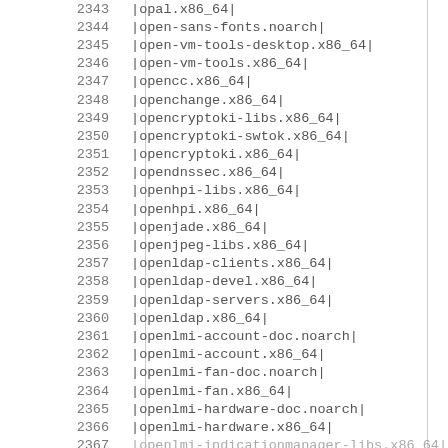| row | package |
| --- | --- |
| 2343 | |opal.x86_64| |
| 2344 | |open-sans-fonts.noarch| |
| 2345 | |open-vm-tools-desktop.x86_64| |
| 2346 | |open-vm-tools.x86_64| |
| 2347 | |opencc.x86_64| |
| 2348 | |openchange.x86_64| |
| 2349 | |opencryptoki-libs.x86_64| |
| 2350 | |opencryptoki-swtok.x86_64| |
| 2351 | |opencryptoki.x86_64| |
| 2352 | |opendnssec.x86_64| |
| 2353 | |openhpi-libs.x86_64| |
| 2354 | |openhpi.x86_64| |
| 2355 | |openjade.x86_64| |
| 2356 | |openjpeg-libs.x86_64| |
| 2357 | |openldap-clients.x86_64| |
| 2358 | |openldap-devel.x86_64| |
| 2359 | |openldap-servers.x86_64| |
| 2360 | |openldap.x86_64| |
| 2361 | |openlmi-account-doc.noarch| |
| 2362 | |openlmi-account.x86_64| |
| 2363 | |openlmi-fan-doc.noarch| |
| 2364 | |openlmi-fan.x86_64| |
| 2365 | |openlmi-hardware-doc.noarch| |
| 2366 | |openlmi-hardware.x86_64| |
| 2367 | |openlmi-indicationmanager-libs.x86_64| |